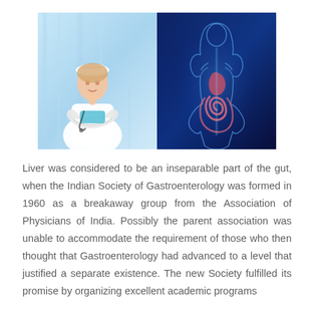[Figure (photo): A composite image: left half shows a female doctor/nurse in white uniform and cap with stethoscope, arms crossed, smiling, against a light blue clinical background; right half shows a blue-toned transparent human body anatomy illustration highlighting the digestive system organs (stomach, intestines) in pink/red against a glowing blue background.]
Liver was considered to be an inseparable part of the gut, when the Indian Society of Gastroenterology was formed in 1960 as a breakaway group from the Association of Physicians of India. Possibly the parent association was unable to accommodate the requirement of those who then thought that Gastroenterology had advanced to a level that justified a separate existence. The new Society fulfilled its promise by organizing excellent academic programs